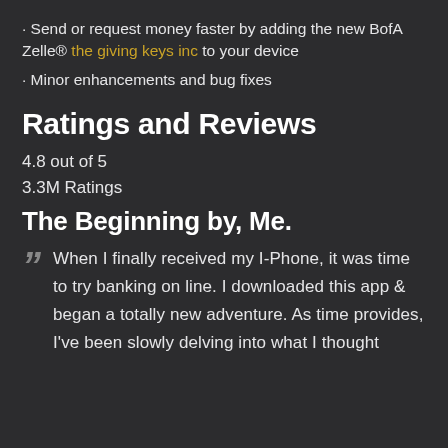· Send or request money faster by adding the new BofA Zelle® the giving keys inc to your device
· Minor enhancements and bug fixes
Ratings and Reviews
4.8 out of 5
3.3M Ratings
The Beginning by, Me.
When I finally received my I-Phone, it was time to try banking on line. I downloaded this app & began a totally new adventure. As time provides, I've been slowly delving into what I thought